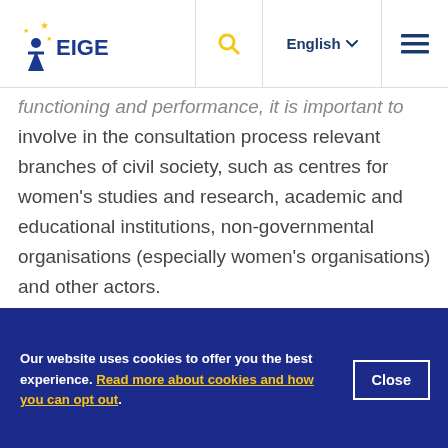EIGE — English
functioning and performance, it is important to involve in the consultation process relevant branches of civil society, such as centres for women's studies and research, academic and educational institutions, non-governmental organisations (especially women's organisations) and other actors.
Advisory and consultative structures
Our website uses cookies to offer you the best experience. Read more about cookies and how you can opt out.